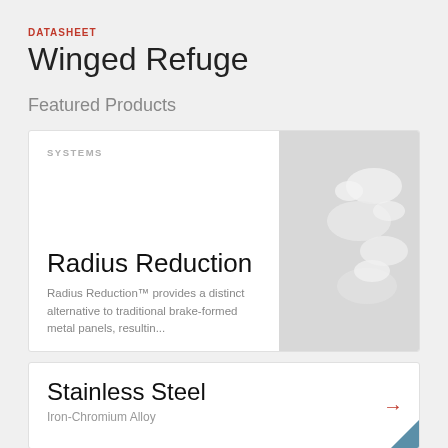DATASHEET
Winged Refuge
Featured Products
SYSTEMS
Radius Reduction
Radius Reduction™ provides a distinct alternative to traditional brake-formed metal panels, resultin...
Stainless Steel
Iron-Chromium Alloy